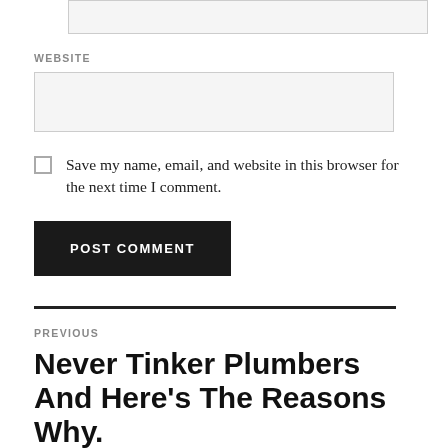[input box top]
WEBSITE
[website input box]
Save my name, email, and website in this browser for the next time I comment.
POST COMMENT
PREVIOUS
Never Tinker Plumbers And Here's The Reasons Why.